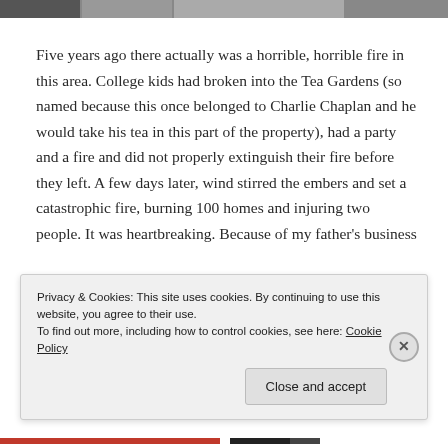[Figure (photo): Partial image strip showing cropped photographs at the top of the page]
Five years ago there actually was a horrible, horrible fire in this area. College kids had broken into the Tea Gardens (so named because this once belonged to Charlie Chaplan and he would take his tea in this part of the property), had a party and a fire and did not properly extinguish their fire before they left. A few days later, wind stirred the embers and set a catastrophic fire, burning 100 homes and injuring two people. It was heartbreaking. Because of my father's business
Privacy & Cookies: This site uses cookies. By continuing to use this website, you agree to their use.
To find out more, including how to control cookies, see here: Cookie Policy

Close and accept